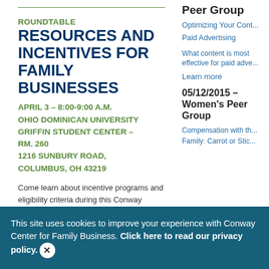ROUNDTABLE
RESOURCES AND INCENTIVES FOR FAMILY BUSINESSES
APRIL 3 – 8:00-9:00 A.M.
OHIO DOMINICAN UNIVERSITY GRIFFIN STUDENT CENTER – RM. 260
1216 SUNBURY ROAD, COLUMBUS, OH 43219
Come learn about incentive programs and eligibility criteria during this Conway Center Roundtable led by Columbus
Peer Group
Optimizing Your Cont...
Paid Advertising
What content is most effective for paid adve...
Learn more
05/12/2015 – Women's Peer Group
Compensation with th...
Family: Carrot or Stic...
This site uses cookies to improve your experience with Conway Center for Family Business. Click here to read our privacy policy.